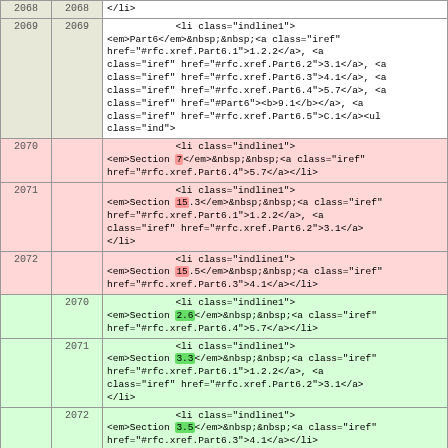| line-old | line-new | code |
| --- | --- | --- |
| 2068 | 2068 | </li> |
| 2069 | 2069 | <li class="indline1">
<em>Part6</em>&nbsp;&nbsp;<a class="iref" href="#rfc.xref.Part6.1">1.2.2</a>, <a
class="iref" href="#rfc.xref.Part6.2">3.1</a>, <a
class="iref" href="#rfc.xref.Part6.3">4.1</a>, <a
class="iref" href="#rfc.xref.Part6.4">5.7</a>, <a
class="iref" href="#Part6"><b>9.1</b></a>, <a
class="iref" href="#rfc.xref.Part6.5">C.1</a><ul
class="ind"> |
| 2070 |  | <li class="indline1">
<em>Section 7</em>&nbsp;&nbsp;<a class="iref"
href="#rfc.xref.Part6.4">5.7</a></li> |
| 2071 |  | <li class="indline1">
<em>Section 15.3</em>&nbsp;&nbsp;<a class="iref"
href="#rfc.xref.Part6.1">1.2.2</a>, <a
class="iref" href="#rfc.xref.Part6.2">3.1</a>
</li> |
| 2072 |  | <li class="indline1">
<em>Section 15.5</em>&nbsp;&nbsp;<a class="iref"
href="#rfc.xref.Part6.3">4.1</a></li> |
|  | 2070 | <li class="indline1">
<em>Section 2.6</em>&nbsp;&nbsp;<a class="iref"
href="#rfc.xref.Part6.4">5.7</a></li> |
|  | 2071 | <li class="indline1">
<em>Section 3.3</em>&nbsp;&nbsp;<a class="iref"
href="#rfc.xref.Part6.1">1.2.2</a>, <a
class="iref" href="#rfc.xref.Part6.2">3.1</a>
</li> |
|  | 2072 | <li class="indline1">
<em>Section 3.5</em>&nbsp;&nbsp;<a class="iref"
href="#rfc.xref.Part6.3">4.1</a></li> |
| 2073 | 2073 | </ul> |
| 2074 | 2074 | </li> |